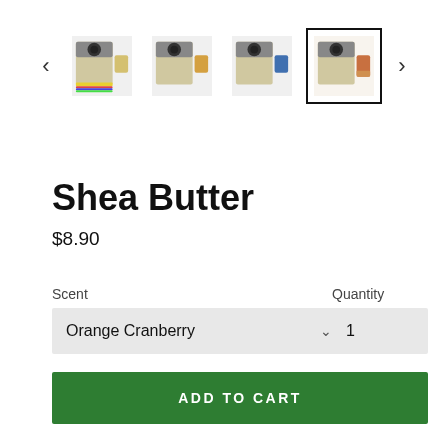[Figure (screenshot): Product image thumbnail carousel showing 4 soap product images. Three unselected thumbnails and one selected (rightmost) with black border showing Shea Butter Orange Cranberry soap.]
Shea Butter
$8.90
Scent
Quantity
Orange Cranberry
1
ADD TO CART